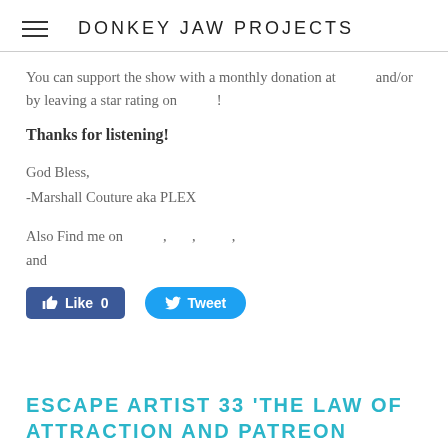DONKEY JAW PROJECTS
You can support the show with a monthly donation at and/or by leaving a star rating on !
Thanks for listening!
God Bless,
-Marshall Couture aka PLEX
Also Find me on , , , and
[Figure (screenshot): Facebook Like button showing count 0 and Twitter Tweet button]
ESCAPE ARTIST 33 'THE LAW OF ATTRACTION AND PATREON